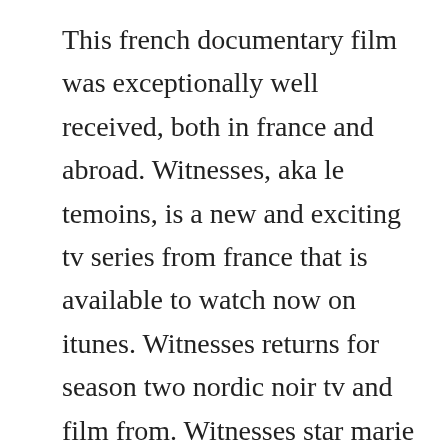This french documentary film was exceptionally well received, both in france and abroad. Witnesses, aka le temoins, is a new and exciting tv series from france that is available to watch now on itunes. Witnesses returns for season two nordic noir tv and film from. Witnesses star marie dompnier hopes series will bring best of. In the uk, french language drama witnesses limped to the end of its run with an audience of just 290,000 on channel 4 c4. By the time she reaches the door of the shack, its evident there isnt a surf board